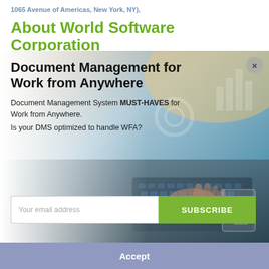1065 Avenue of Americas, New York, NY),
About World Software Corporation
Founded in 1988 and based in Glen Rock, New Jersey,
[Figure (screenshot): Modal popup overlay with document management advertisement over a background photo of hands typing on a keyboard with digital document icons. Modal contains title 'Document Management for Work from Anywhere', body text about DMS must-haves, email subscription form, and close button.]
Accept